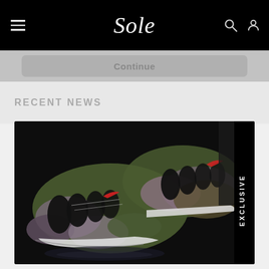Sole
Continue
RECENT NEWS
[Figure (photo): Close-up photo of two Nike camouflage sneakers (Air Max style) with green/brown/pink camo pattern, black overlays, white midsole, and red Nike swoosh accent. Dark background. 'EXCLUSIVE' label on the right side.]